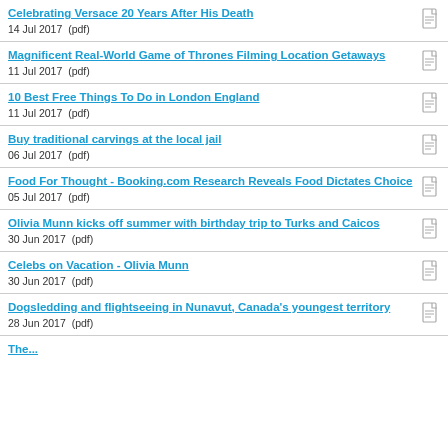Celebrating Versace 20 Years After His Death
14 Jul 2017  (pdf)
Magnificent Real-World Game of Thrones Filming Location Getaways
11 Jul 2017  (pdf)
10 Best Free Things To Do in London England
11 Jul 2017  (pdf)
Buy traditional carvings at the local jail
06 Jul 2017  (pdf)
Food For Thought - Booking.com Research Reveals Food Dictates Choice
05 Jul 2017  (pdf)
Olivia Munn kicks off summer with birthday trip to Turks and Caicos
30 Jun 2017  (pdf)
Celebs on Vacation - Olivia Munn
30 Jun 2017  (pdf)
Dogsledding and flightseeing in Nunavut, Canada's youngest territory
28 Jun 2017  (pdf)
The...